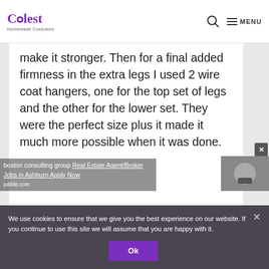Coolest Homemade Costumes | MENU
make it stronger. Then for a final added firmness in the extra legs I used 2 wire coat hangers, one for the top set of legs and the other for the lower set. They were the perfect size plus it made it much more possible when it was done.
We use cookies to ensure that we give you the best experience on our website. If you continue to use this site we will assume that you are happy with it.
Ok
boston consulting group Real Estate Agent/Broker Jobs in Ashburn Apply Now jobble.com